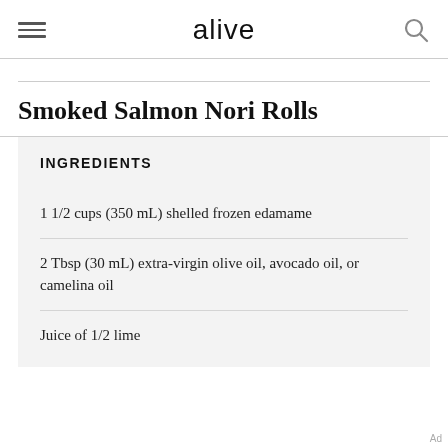alive
Smoked Salmon Nori Rolls
INGREDIENTS
1 1/2 cups (350 mL) shelled frozen edamame
2 Tbsp (30 mL) extra-virgin olive oil, avocado oil, or camelina oil
Juice of 1/2 lime